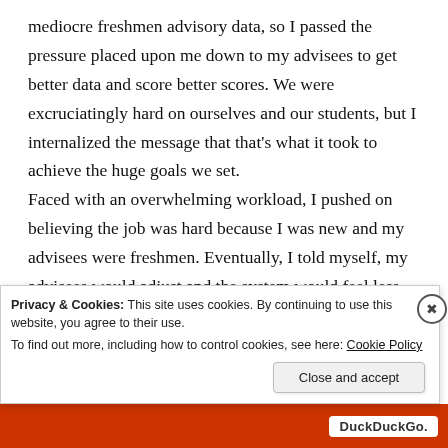mediocre freshmen advisory data, so I passed the pressure placed upon me down to my advisees to get better data and score better scores. We were excruciatingly hard on ourselves and our students, but I internalized the message that that's what it took to achieve the huge goals we set. Faced with an overwhelming workload, I pushed on believing the job was hard because I was new and my advisees were freshmen. Eventually, I told myself, my advisees would adjust and the system would feel less harsh. Work would get easier as soon as I mastered the
Privacy & Cookies: This site uses cookies. By continuing to use this website, you agree to their use.
To find out more, including how to control cookies, see here: Cookie Policy
Close and accept